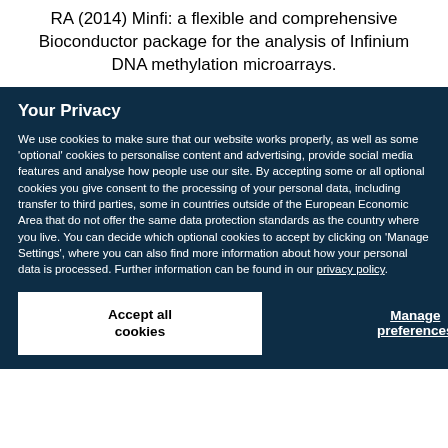RA (2014) Minfi: a flexible and comprehensive Bioconductor package for the analysis of Infinium DNA methylation microarrays.
Your Privacy
We use cookies to make sure that our website works properly, as well as some 'optional' cookies to personalise content and advertising, provide social media features and analyse how people use our site. By accepting some or all optional cookies you give consent to the processing of your personal data, including transfer to third parties, some in countries outside of the European Economic Area that do not offer the same data protection standards as the country where you live. You can decide which optional cookies to accept by clicking on 'Manage Settings', where you can also find more information about how your personal data is processed. Further information can be found in our privacy policy.
Accept all cookies
Manage preferences